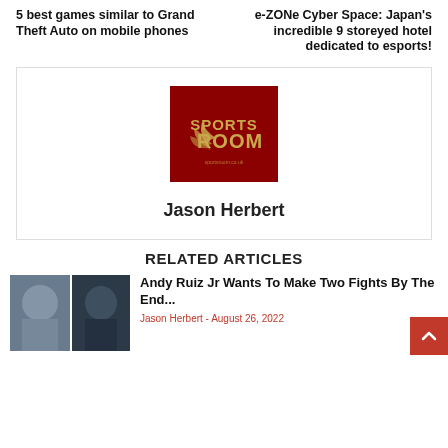5 best games similar to Grand Theft Auto on mobile phones
e-ZONe Cyber Space: Japan's incredible 9 storeyed hotel dedicated to esports!
[Figure (logo): Sports Room logo — red background with gold text 'SPORTS ROOM' and gold fan/swoosh icon, with small URL text below]
Jason Herbert
RELATED ARTICLES
[Figure (photo): Two boxers side by side, one heavier-set and one in dark attire, used as thumbnail for Andy Ruiz Jr article]
Andy Ruiz Jr Wants To Make Two Fights By The End...
Jason Herbert - August 26, 2022